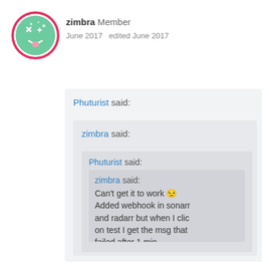[Figure (illustration): Avatar circle with pink/red border containing a green emoji-like face with stars, cross eyes, and tongue out on white background]
zimbra Member
June 2017   edited June 2017
Phuturist said:
zimbra said:
Phuturist said:
zimbra said:
Can't get it to work 😒
Added webhook in sonarr and radarr but when I click on test I get the msg that failed after 1 min.
When I try https it immediately fails. I also tr the xxxxx.home.athom.co